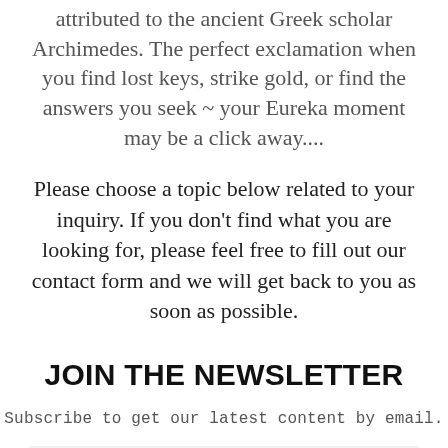attributed to the ancient Greek scholar Archimedes. The perfect exclamation when you find lost keys, strike gold, or find the answers you seek ~ your Eureka moment may be a click away....
Please choose a topic below related to your inquiry. If you don't find what you are looking for, please feel free to fill out our contact form and we will get back to you as soon as possible.
JOIN THE NEWSLETTER
Subscribe to get our latest content by email.
Name